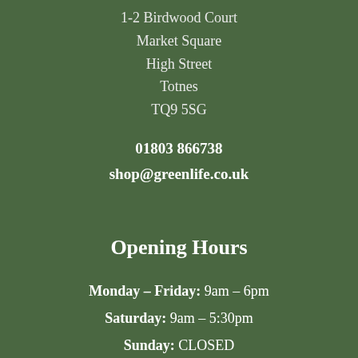1-2 Birdwood Court
Market Square
High Street
Totnes
TQ9 5SG
01803 866738
shop@greenlife.co.uk
Opening Hours
Monday – Friday: 9am – 6pm
Saturday: 9am – 5:30pm
Sunday: CLOSED